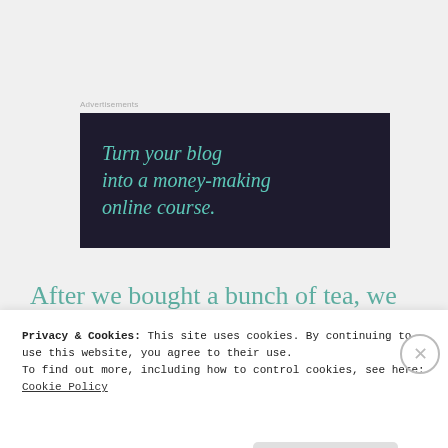Advertisements
[Figure (infographic): Dark navy advertisement box with teal italic text reading 'Turn your blog into a money-making online course.']
After we bought a bunch of tea, we asked the lady where else we should go and she told us
Privacy & Cookies: This site uses cookies. By continuing to use this website, you agree to their use.
To find out more, including how to control cookies, see here: Cookie Policy
Close and accept